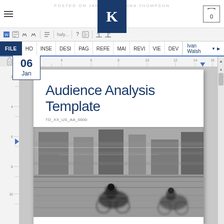POSTED ON JANUARY  ANNA THOMPSON
[Figure (logo): K logo in dark blue square]
0
FILE  HO  INSE  DESI  PAG  REFE  MAI  REVI  VIE  DEV  Ivan Walsh
06
Jan
Audience Analysis Template
TD_XX_US_AA_0000
[Figure (photo): Black and white motion-blurred photo of cyclists racing on a street with buildings in background]